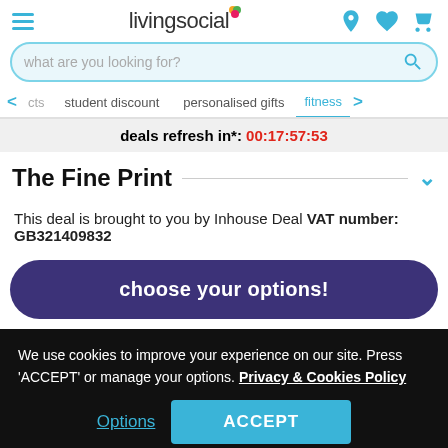[Figure (screenshot): LivingSocial website header with hamburger menu, logo, and icons for location, wishlist, and cart]
what are you looking for?
cts   student discount   personalised gifts   fitness
deals refresh in*: 00:17:57:53
The Fine Print
This deal is brought to you by Inhouse Deal VAT number: GB321409832
choose your options!
We use cookies to improve your experience on our site. Press 'ACCEPT' or manage your options. Privacy & Cookies Policy
Options
ACCEPT